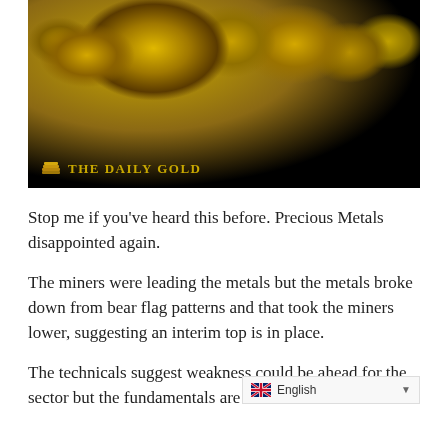[Figure (photo): Photo of gold nuggets/ore pieces on a dark background with 'The Daily Gold' logo in the lower left corner of the image]
Stop me if you've heard this before. Precious Metals disappointed again.
The miners were leading the metals but the metals broke down from bear flag patterns and that took the miners lower, suggesting an interim top is in place.
The technicals suggest weakness could be ahead for the sector but the fundamentals are f [English translate bar visible]